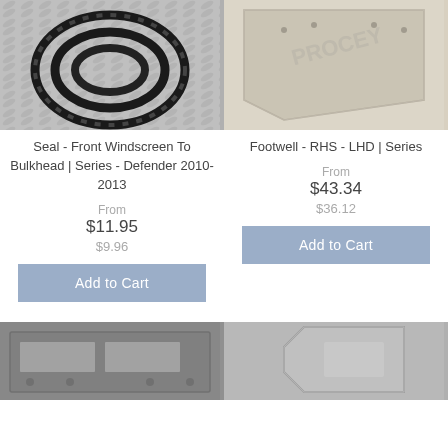[Figure (photo): Rubber seal / gasket coiled on diamond-plate aluminum surface]
Seal - Front Windscreen To Bulkhead | Series - Defender 2010-2013
From
$11.95
$9.96
Add to Cart
[Figure (photo): Metal footwell panel, beige/grey color, with PROCEY branding watermark]
Footwell - RHS - LHD | Series
From
$43.34
$36.12
Add to Cart
[Figure (photo): Metal floor panel / footwell component, dark grey, with holes]
[Figure (photo): Grey metal bracket or corner piece component]